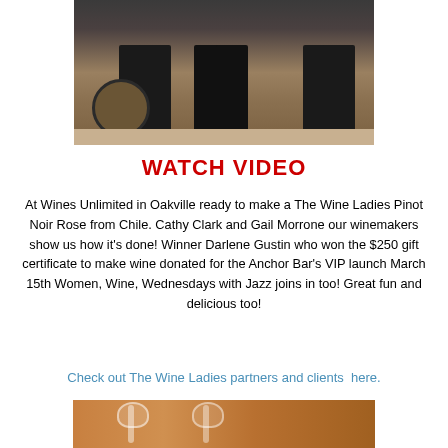[Figure (photo): Photo showing lower half of people standing in a winery, with a decorative basket on the floor]
WATCH VIDEO
At Wines Unlimited in Oakville ready to make a The Wine Ladies Pinot Noir Rose from Chile. Cathy Clark and Gail Morrone our winemakers show us how it's done! Winner Darlene Gustin who won the $250 gift certificate to make wine donated for the Anchor Bar's VIP launch March 15th Women, Wine, Wednesdays with Jazz joins in too! Great fun and delicious too!
Check out The Wine Ladies partners and clients  here.
[Figure (photo): Photo showing wine glasses and food items on a table at the event]